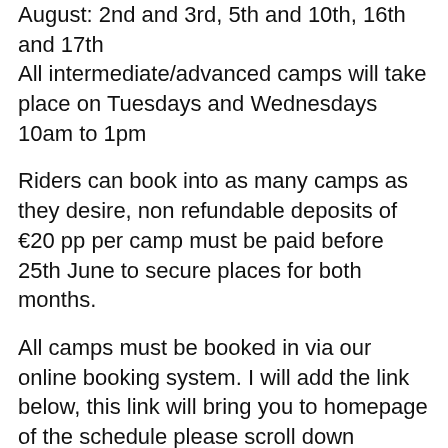August: 2nd and 3rd, 5th and 10th, 16th and 17th All intermediate/advanced camps will take place on Tuesdays and Wednesdays 10am to 1pm
Riders can book into as many camps as they desire, non refundable deposits of €20 pp per camp must be paid before 25th June to secure places for both months.
All camps must be booked in via our online booking system. I will add the link below, this link will bring you to homepage of the schedule please scroll down through the schedule to find July and August and go from there. Please complete the booking fully, a completed booking will get a confirmation email.
If you are sending deposits via revolute or online banking please reference with child's name. Many thanks
All camps cost €50 per person per camp, limited